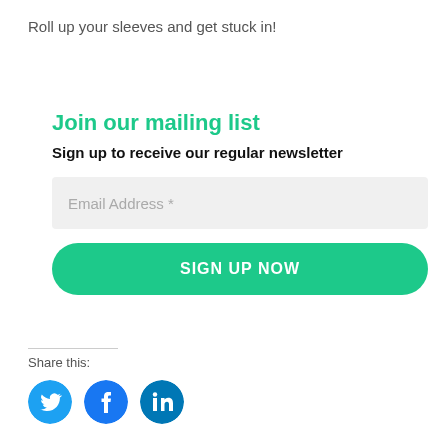Roll up your sleeves and get stuck in!
Join our mailing list
Sign up to receive our regular newsletter
Email Address *
SIGN UP NOW
Share this:
[Figure (illustration): Three social media icons: Twitter (blue bird), Facebook (blue f), LinkedIn (blue in)]